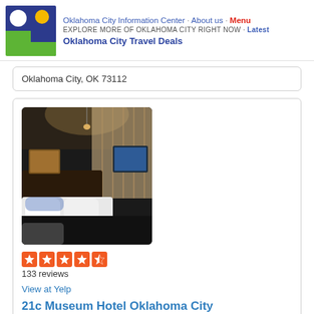Oklahoma City Information Center · About us · Menu
EXPLORE MORE OF OKLAHOMA CITY RIGHT NOW · Latest
Oklahoma City Travel Deals
Oklahoma City, OK 73112
[Figure (photo): Hotel room interior with a bed, pillows, TV mounted on the wall, curtains, and dim lighting]
133 reviews
View at Yelp
21c Museum Hotel Oklahoma City